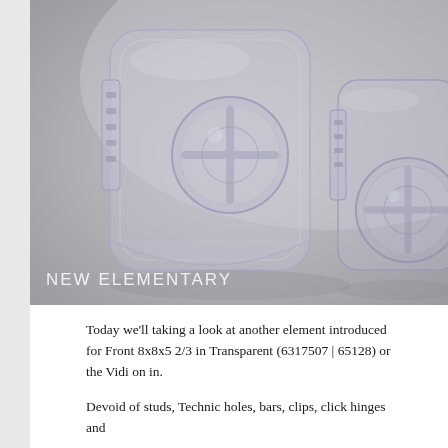[Figure (photo): Close-up photo of transparent LEGO-style plastic pieces on a grey background. The pieces are clear/translucent with rounded edges and circular connector holes. A watermark reads 'NEW ELEMENTARY' in white text at the bottom left of the image.]
Today we'll taking a look at another element introduced for Front 8x8x5 2/3 in Transparent (6317507 | 65128) or the Vidi on in.
Devoid of studs, Technic holes, bars, clips, click hinges and